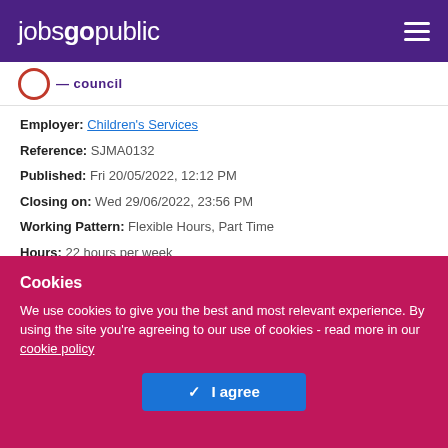jobsgopublic
[Figure (logo): Employer logo bar with red circle logo and council name in purple]
Employer: Children's Services
Reference: SJMA0132
Published: Fri 20/05/2022, 12:12 PM
Closing on: Wed 29/06/2022, 23:56 PM
Working Pattern: Flexible Hours, Part Time
Hours: 22 hours per week
Salary: £20,000 – £29,999
Cookies
We use cookies to give you the best and most relevant experience. By using the site you're agreeing to our use of cookies - read more in our cookie policy
I agree